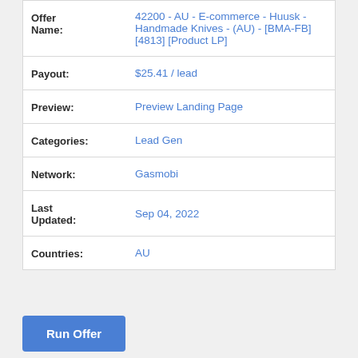| Field | Value |
| --- | --- |
| Offer Name: | 42200 - AU - E-commerce - Huusk - Handmade Knives - (AU) - [BMA-FB] [4813] [Product LP] |
| Payout: | $25.41 / lead |
| Preview: | Preview Landing Page |
| Categories: | Lead Gen |
| Network: | Gasmobi |
| Last Updated: | Sep 04, 2022 |
| Countries: | AU |
Run Offer